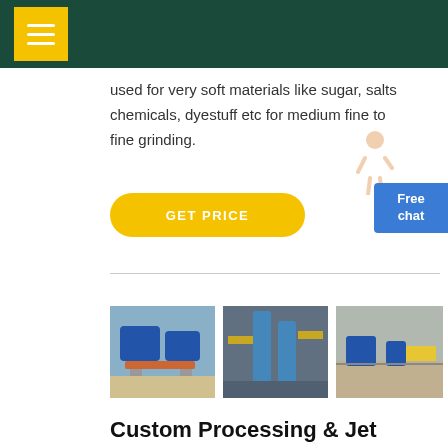used for very soft materials like sugar, salts chemicals, dyestuff etc for medium fine to fine grinding.
GET PRICE
[Figure (photo): Blue industrial grinding mill machine on white base]
[Figure (photo): Industrial pipe and equipment with yellow railings]
[Figure (photo): Aerial view of industrial crushing/mining plant]
Custom Processing & Jet Mills - Jet Pulverizer